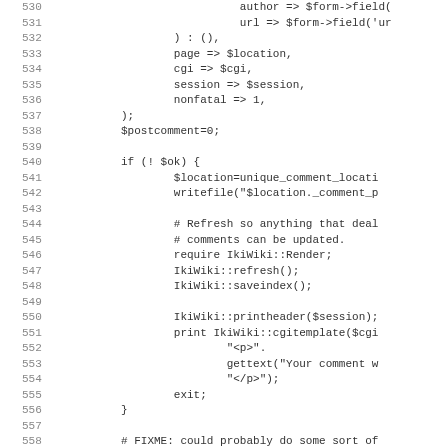[Figure (screenshot): Source code listing (Perl) showing lines 530-562 with line numbers on the left and code on the right. Code includes form field handling, postcomment logic, location/file writing, IkiWiki refresh/saveindex calls, printheader, cgitemplate print, and a FIXME comment.]